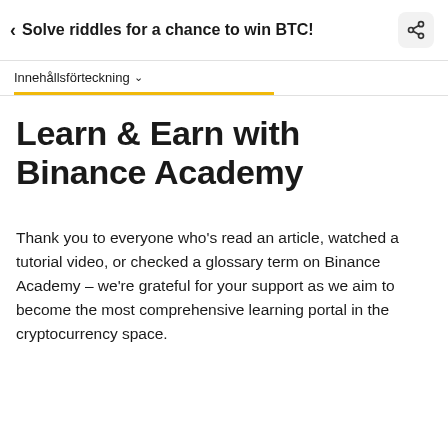< Solve riddles for a chance to win BTC!
Innehållsförteckning
Learn & Earn with Binance Academy
Thank you to everyone who's read an article, watched a tutorial video, or checked a glossary term on Binance Academy – we're grateful for your support as we aim to become the most comprehensive learning portal in the cryptocurrency space.